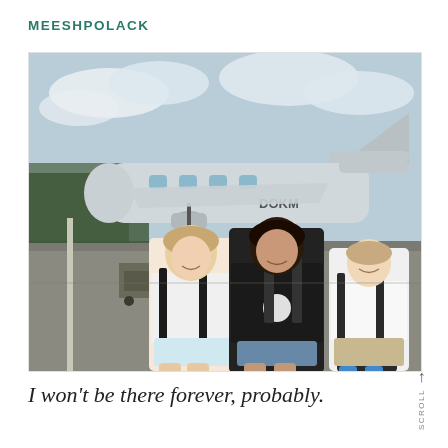MEESHPOLACK
[Figure (photo): Three young people wearing skydiving harnesses standing on an airport tarmac in front of a small white propeller airplane. Two women stand together smiling with arms around each other in the foreground; a young man stands in the background to the right. The plane has text 'DOKM' visible on its fuselage.]
I won't be there forever, probably.